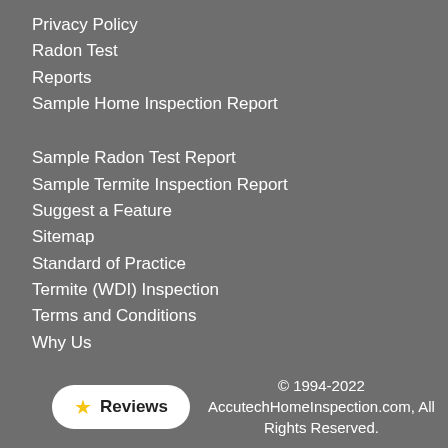Privacy Policy
Radon Test
Reports
Sample Home Inspection Report
Sample Radon Test Report
Sample Termite Inspection Report
Suggest a Feature
Sitemap
Standard of Practice
Termite (WDI) Inspection
Terms and Conditions
Why Us
© 1994-2022 AccutechHomeInspection.com, All Rights Reserved.